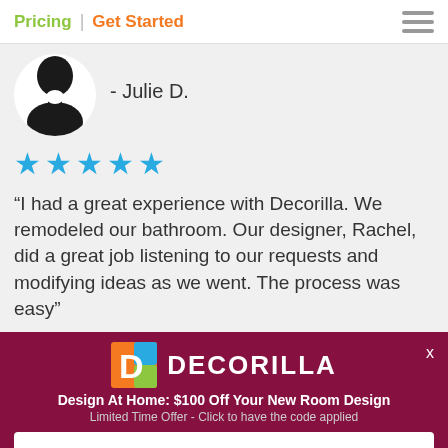Pricing | Get Started
[Figure (illustration): Silhouette avatar profile photo of reviewer Julie D.]
- Julie D.
[Figure (other): Five blue stars rating]
“I had a great experience with Decorilla. We remodeled our bathroom. Our designer, Rachel, did a great job listening to our requests and modifying ideas as we went. The process was easy”
[Figure (logo): Decorilla logo - orange D shape on colorful background]
DECORILLA
Design At Home: $100 Off Your New Room Design
Limited Time Offer - Click to have the code applied
GET STARTED NOW